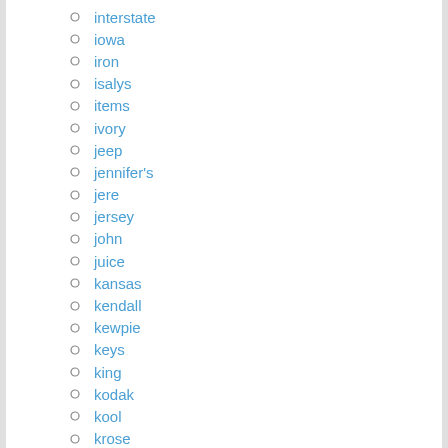interstate
iowa
iron
isalys
items
ivory
jeep
jennifer's
jere
jersey
john
juice
kansas
kendall
kewpie
keys
king
kodak
kool
krose